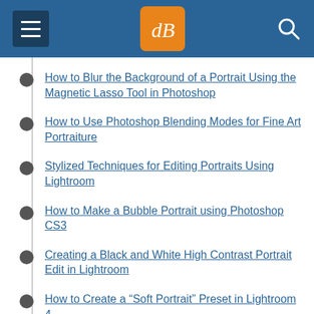dPS – Digital Photography School
How to Blur the Background of a Portrait Using the Magnetic Lasso Tool in Photoshop
How to Use Photoshop Blending Modes for Fine Art Portraiture
Stylized Techniques for Editing Portraits Using Lightroom
How to Make a Bubble Portrait using Photoshop CS3
Creating a Black and White High Contrast Portrait Edit in Lightroom
How to Create a “Soft Portrait” Preset in Lightroom 4
Basic Photoshop Tutorial – How to Add